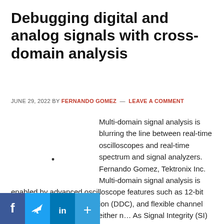Debugging digital and analog signals with cross-domain analysis
JUNE 29, 2022 BY FERNANDO GOMEZ — LEAVE A COMMENT
Multi-domain signal analysis is blurring the line between real-time oscilloscopes and real-time spectrum and signal analyzers. Fernando Gomez, Tektronix Inc. Multi-domain signal analysis is enabled by advanced oscilloscope features such as 12-bit ADC, digital down conversion (DDC), and flexible channel inputs where each can be either n… As Signal Integrity (SI) and Power [d…
[Figure (other): Social sharing bar with Facebook, Twitter, LinkedIn, and a plus/share button]